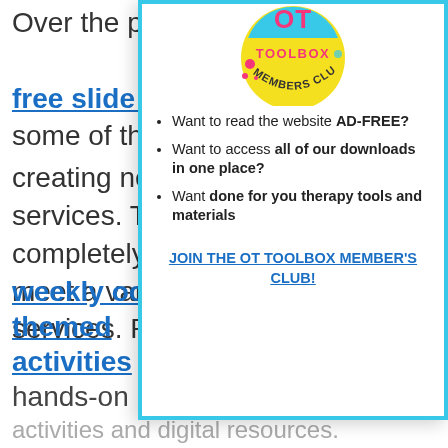Over the pa… free slide d… some of the… creating ne… services. T… completely… meet a vari… services. P…
[Figure (logo): OT Toolbox Members Club logo — circular yellow badge with blue top section, pink/magenta accents, text reading TOOLBOX MEMBERS CLUB]
Want to read the website AD-FREE?
Want to access all of our downloads in one place?
Want done for you therapy tools and materials
JOIN THE OT TOOLBOX MEMBER'S CLUB!
weekly occupational therapy themed activities for a combination of hands-on activities and digital resources.